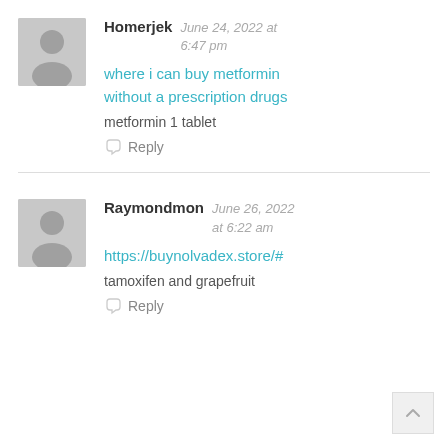Homerjek  June 24, 2022 at 6:47 pm
where i can buy metformin without a prescription drugs
metformin 1 tablet
Reply
Raymondmon  June 26, 2022 at 6:22 am
https://buynolvadex.store/#
tamoxifen and grapefruit
Reply